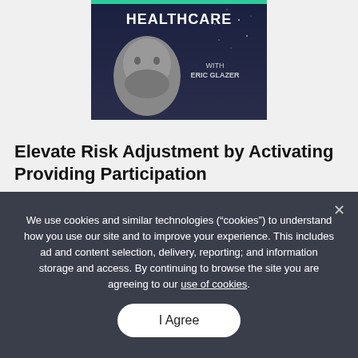[Figure (illustration): Podcast cover image showing a man's face (Eric Glazer) on a dark navy starry background with the text 'HEALTHCARE WITH ERIC GLAZER']
Elevate Risk Adjustment by Activating Providing Participation
Risk adjustment is much more than a regulatory...
We use cookies and similar technologies (“cookies”) to understand how you use our site and to improve your experience. This includes ad and content selection, delivery, reporting; and information storage and access. By continuing to browse the site you are agreeing to our use of cookies.